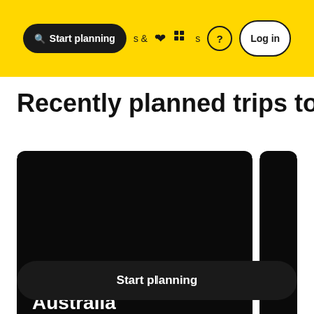[Figure (screenshot): Navigation bar with yellow background containing a search pill labeled 'Start planning', navigation items '& Activities', a heart icon, grid icon, question mark circle, and a 'Log in' button]
Recently planned trips to To
[Figure (screenshot): Dark card showing '60 days in Australia' with subtitle 'BY A USER FROM FRANCE']
[Figure (screenshot): Partially visible dark card with text 'BY A' visible]
Start planning